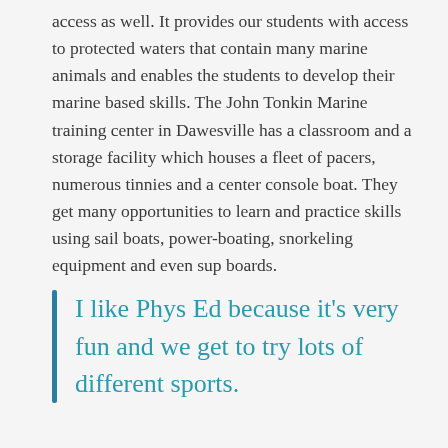access as well. It provides our students with access to protected waters that contain many marine animals and enables the students to develop their marine based skills. The John Tonkin Marine training center in Dawesville has a classroom and a storage facility which houses a fleet of pacers, numerous tinnies and a center console boat. They get many opportunities to learn and practice skills using sail boats, power-boating, snorkeling equipment and even sup boards.
I like Phys Ed because it's very fun and we get to try lots of different sports.